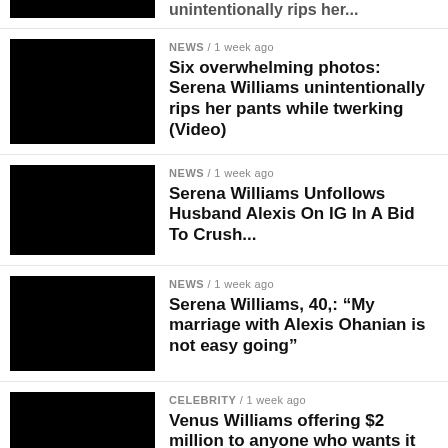[Figure (photo): Black thumbnail image (partially visible at top)]
NEWS / 1 week ago
Six overwhelming photos: Serena Williams unintentionally rips her pants while twerking (Video)
NEWS / 1 week ago
Serena Williams Unfollows Husband Alexis On IG In A Bid To Crush...
NEWS / 1 week ago
Serena Williams, 40,: “My marriage with Alexis Ohanian is not easy going”
CELEBRITY / 1 week ago
Venus Williams offering $2 million to anyone who wants it
NEWS / 1 week ago
10 overwhelming photos: Serena Williams intimately spends day with two...